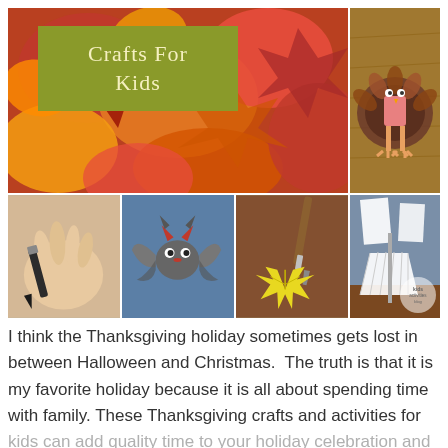[Figure (photo): Collage of Thanksgiving crafts for kids showing fall leaves, a paper plate turkey, hands with a crayon, a bat craft, a leaf painting, and a paper craft. Title overlay reads 'Crafts for Kids' in olive green background with cream text. Kids Activities Blog watermark visible.]
I think the Thanksgiving holiday sometimes gets lost in between Halloween and Christmas.  The truth is that it is my favorite holiday because it is all about spending time with family. These Thanksgiving crafts and activities for kids can add quality time to your holiday celebration and many will …. [Read more...]